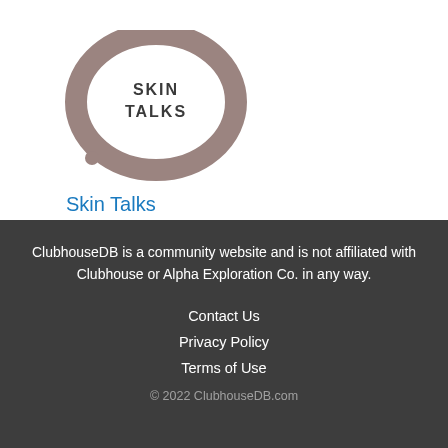[Figure (logo): Skin Talks app logo: a circular speech bubble shape in muted taupe/brown color with 'SKIN TALKS' text inside in white handwritten style font]
Skin Talks
ClubhouseDB is a community website and is not affiliated with Clubhouse or Alpha Exploration Co. in any way.
Contact Us
Privacy Policy
Terms of Use
© 2022 ClubhouseDB.com